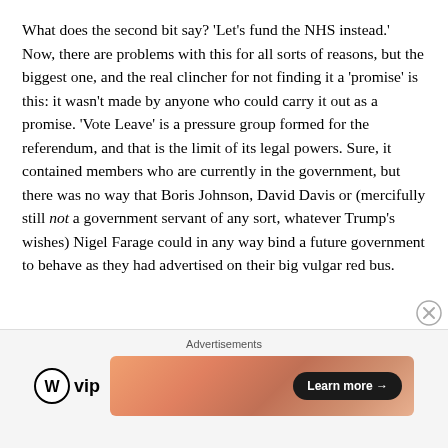What does the second bit say? 'Let's fund the NHS instead.' Now, there are problems with this for all sorts of reasons, but the biggest one, and the real clincher for not finding it a 'promise' is this: it wasn't made by anyone who could carry it out as a promise. 'Vote Leave' is a pressure group formed for the referendum, and that is the limit of its legal powers. Sure, it contained members who are currently in the government, but there was no way that Boris Johnson, David Davis or (mercifully still not a government servant of any sort, whatever Trump's wishes) Nigel Farage could in any way bind a future government to behave as they had advertised on their big vulgar red bus.
Advertisements
[Figure (other): WordPress VIP logo and an advertisement banner with 'Learn more' button]